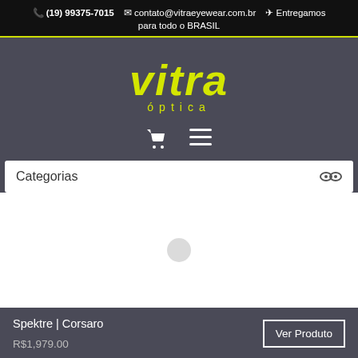📞 (19) 99375-7015   ✉ contato@vitraeyewear.com.br   ✈ Entregamos para todo o BRASIL
[Figure (logo): Vitra Óptica logo in yellow italic text on dark gray background]
Categorias
[Figure (photo): Product image area - white background with loading spinner]
Spektre | Corsaro
R$1,979.00
Ver Produto